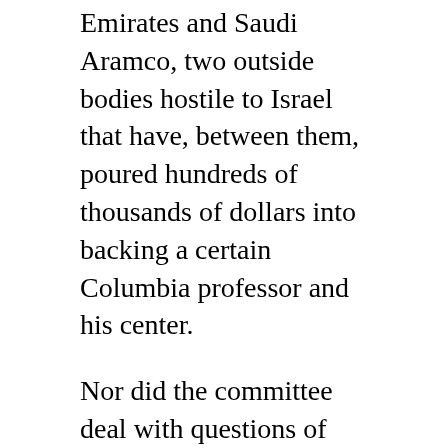Emirates and Saudi Aramco, two outside bodies hostile to Israel that have, between them, poured hundreds of thousands of dollars into backing a certain Columbia professor and his center.
Nor did the committee deal with questions of bias and inaccurate information, which constituted the majority of complaints made by students. The committee said such questions should be left for "peer review of teaching" and "departments." But the committee lashed out at one unnamed pro-Israel professor, saying, "We find it deeply disturbing that faculty were apparently prepared to encourage students to report to them on a fellow-professor's classroom statements." How are the faculty supposed